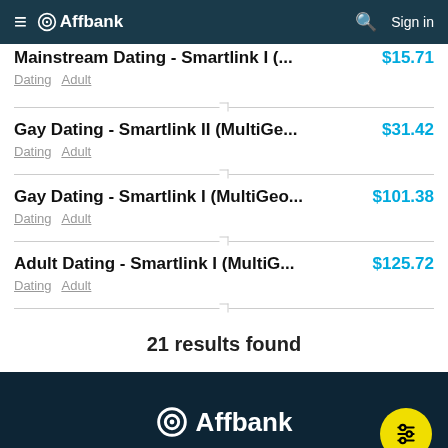Affbank — Sign in
Mainstream Dating - Smartlink I (... $15.71 | Dating Adult
Gay Dating - Smartlink II (MultiGe... $31.42 | Dating Adult
Gay Dating - Smartlink I (MultiGeo... $101.38 | Dating Adult
Adult Dating - Smartlink I (MultiG... $125.72 | Dating Adult
21 results found
Affbank